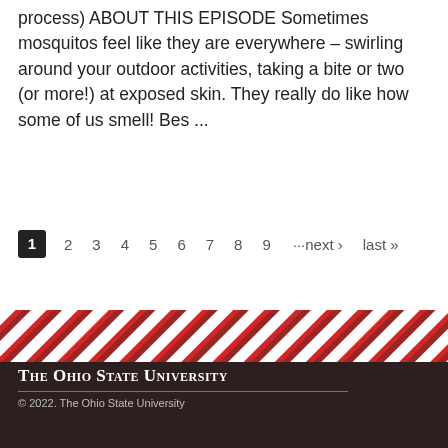Download a transcript of this filing (in process) ABOUT THIS EPISODE Sometimes mosquitos feel like they are everywhere – swirling around your outdoor activities, taking a bite or two (or more!) at exposed skin. They really do like how some of us smell! Bes ...
1  2  3  4  5  6  7  8  9  ···next ›  last »
[Figure (illustration): Diagonal red and white stripe decorative banner]
The Ohio State University © 2022. The Ohio State University